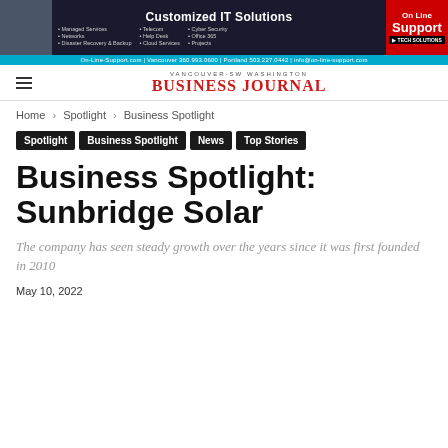[Figure (other): Advertisement banner for On-Line Tech Solutions showing a person, IT services list, and contact information]
VANCOUVER-SW WASHINGTON BUSINESS JOURNAL
Home › Spotlight › Business Spotlight
Spotlight
Business Spotlight
News
Top Stories
Business Spotlight: Sunbridge Solar
The company has seen steady growth over the years since it was first founded in 2010
May 10, 2022